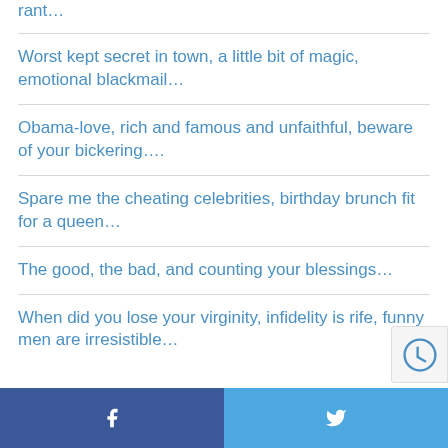rant…
Worst kept secret in town, a little bit of magic, emotional blackmail…
Obama-love, rich and famous and unfaithful, beware of your bickering….
Spare me the cheating celebrities, birthday brunch fit for a queen…
The good, the bad, and counting your blessings…
When did you lose your virginity, infidelity is rife, funny men are irresistible…
Facebook | Twitter